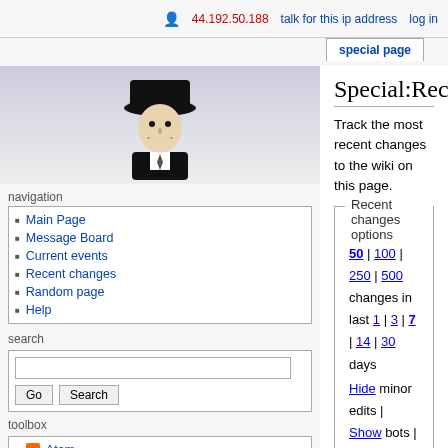44.192.50.188  talk for this ip address  log in
special page
Special:RecentChanges
Track the most recent changes to the wiki on this page.
Recent changes options
Show last 50 | 100 | 250 | 500 changes in last 1 | 3 | 7 | 14 | 30 days
Hide minor edits | Show bots | Show anonymous users | Hide logged-in users | Hide my edits
Show new changes starting from 10:17, 24 August 2022
Namespace: all   Invert selection  Go
Legend: N - new page, m - minor edit, b - bot edit.
23 August 2022
Main Page
Message Board
Current events
Recent changes
Random page
Help
Atom
Special pages